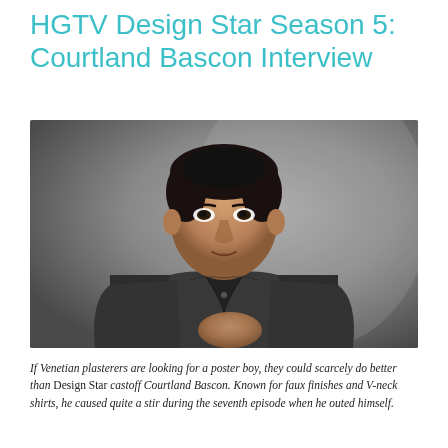HGTV Design Star Season 5: Courtland Bascon Interview
[Figure (photo): Portrait photo of Courtland Bascon, a man with dark hair wearing an open dark grey shirt, posed against a grey studio background.]
If Venetian plasterers are looking for a poster boy, they could scarcely do better than Design Star castoff Courtland Bascon. Known for faux finishes and V-neck shirts, he caused quite a stir during the seventh episode when he outed himself.